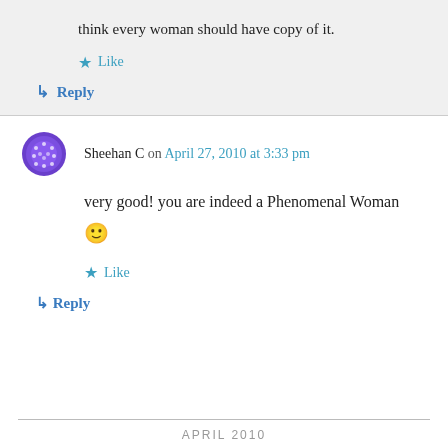think every woman should have copy of it.
Like
Reply
Sheehan C on April 27, 2010 at 3:33 pm
very good! you are indeed a Phenomenal Woman 🙂
Like
Reply
APRIL 2010